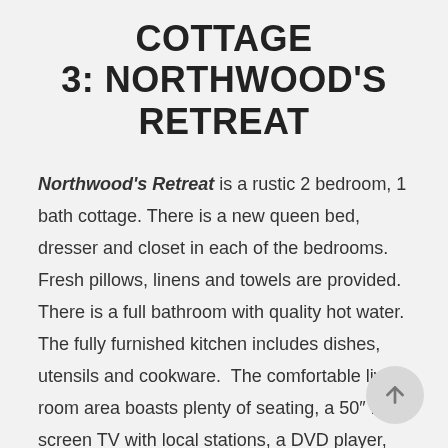COTTAGE 3: NORTHWOOD'S RETREAT
Northwood's Retreat is a rustic 2 bedroom, 1 bath cottage. There is a new queen bed, dresser and closet in each of the bedrooms. Fresh pillows, linens and towels are provided. There is a full bathroom with quality hot water. The fully furnished kitchen includes dishes, utensils and cookware.  The comfortable living room area boasts plenty of seating, a 50″ flat screen TV with local stations, a DVD player, and a variety of movies. There are hardwood floors throughout this cottage. There are ceiling fans